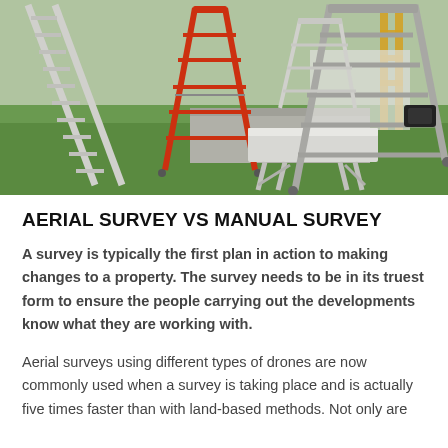[Figure (photo): Outdoor photo showing multiple ladders of different types and sizes arranged on grass with a concrete/paved area in the background. Ladders include a long white extension ladder on the left, an orange/red A-frame step ladder, a white portable workbench/scaffold in the center, and a large grey A-frame ladder on the right. Yellow scaffolding or equipment is visible in the far background.]
AERIAL SURVEY VS MANUAL SURVEY
A survey is typically the first plan in action to making changes to a property. The survey needs to be in its truest form to ensure the people carrying out the developments know what they are working with.
Aerial surveys using different types of drones are now commonly used when a survey is taking place and is actually five times faster than with land-based methods. Not only are